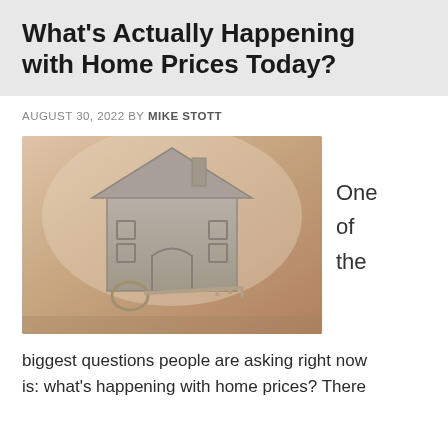What's Actually Happening with Home Prices Today?
AUGUST 30, 2022 BY MIKE STOTT
[Figure (photo): A metallic house-shaped cutout standing upright with a vintage key leaning against it, on a warm beige/brown surface with soft background lighting.]
One of the
biggest questions people are asking right now is: what's happening with home prices? There